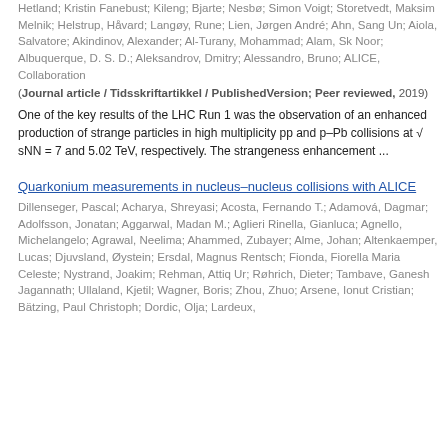Hetland; Kristin Fanebust; Kileng; Bjarte; Nesbø; Simon Voigt; Storetvedt, Maksim Melnik; Helstrup, Håvard; Langøy, Rune; Lien, Jørgen André; Ahn, Sang Un; Aiola, Salvatore; Akindinov, Alexander; Al-Turany, Mohammad; Alam, Sk Noor; Albuquerque, D. S. D.; Aleksandrov, Dmitry; Alessandro, Bruno; ALICE, Collaboration
(Journal article / Tidsskriftartikkel / PublishedVersion; Peer reviewed, 2019)
One of the key results of the LHC Run 1 was the observation of an enhanced production of strange particles in high multiplicity pp and p–Pb collisions at √ sNN = 7 and 5.02 TeV, respectively. The strangeness enhancement ...
Quarkonium measurements in nucleus–nucleus collisions with ALICE
Dillenseger, Pascal; Acharya, Shreyasi; Acosta, Fernando T.; Adamová, Dagmar; Adolfsson, Jonatan; Aggarwal, Madan M.; Aglieri Rinella, Gianluca; Agnello, Michelangelo; Agrawal, Neelima; Ahammed, Zubayer; Alme, Johan; Altenkaemper, Lucas; Djuvsland, Øystein; Ersdal, Magnus Rentsch; Fionda, Fiorella Maria Celeste; Nystrand, Joakim; Rehman, Attiq Ur; Røhrich, Dieter; Tambave, Ganesh Jagannath; Ullaland, Kjetil; Wagner, Boris; Zhou, Zhuo; Arsene, Ionut Cristian; Bätzing, Paul Christoph; Dordic, Olja; Lardeux,